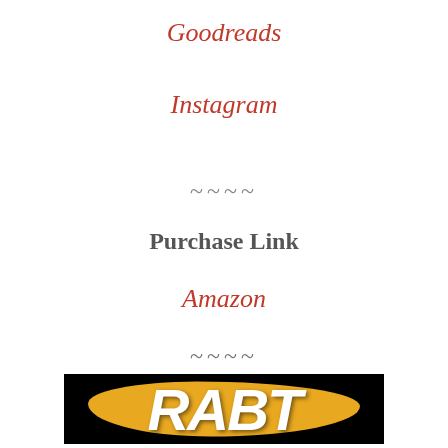Goodreads
Instagram
~~~~
Purchase Link
Amazon
~~~~
[Figure (logo): RABT logo with white text on gold brushstroke against black background]